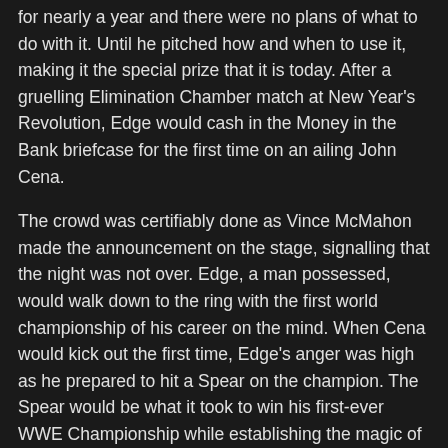for nearly a year and there were no plans of what to do with it. Until he pitched how and when to use it, making it the special prize that it is today. After a gruelling Elimination Chamber match at New Year's Revolution, Edge would cash in the Money in the Bank briefcase for the first time on an ailing John Cena.
The crowd was certifiably done as Vince McMahon made the announcement on the stage, signalling that the night was not over. Edge, a man possessed, would walk down to the ring with the first world championship of his career on the mind. When Cena would kick out the first time, Edge's anger was high as he prepared to hit a Spear on the champion. The Spear would be what it took to win his first-ever WWE Championship while establishing the magic of Money in the Bank in one single night.